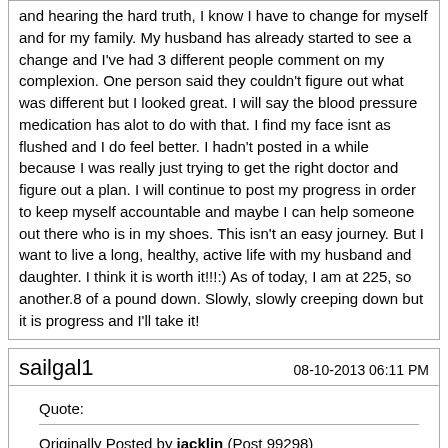and hearing the hard truth, I know I have to change for myself and for my family. My husband has already started to see a change and I've had 3 different people comment on my complexion. One person said they couldn't figure out what was different but I looked great. I will say the blood pressure medication has alot to do with that. I find my face isnt as flushed and I do feel better. I hadn't posted in a while because I was really just trying to get the right doctor and figure out a plan. I will continue to post my progress in order to keep myself accountable and maybe I can help someone out there who is in my shoes. This isn't an easy journey. But I want to live a long, healthy, active life with my husband and daughter. I think it is worth it!!!:) As of today, I am at 225, so another.8 of a pound down. Slowly, slowly creeping down but it is progress and I'll take it!
sailgal1
08-10-2013 06:11 PM
Quote:
Originally Posted by jacklin (Post 99298) Thanks so much for the support! Episode, I do plan to keep posting. In the past, I have made so many promises to myself that I will do it THIS time, only to make an excuse for cheating on the diet and then the all or nothing personality takes over and its back to the old way. Then, it is followed by a fresh round of guilt and self loathing that leads to another round of overeating because in some sick way, in that moment, I believe that the food I'm stuffing in my face is the only thing that will make me feel better. It really has been a vicious cycle. My thinking is that if I can go public with my goals, I will hold myself more